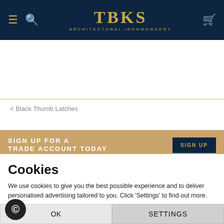TBKS ARCHITECTURAL IRONMONGERY
< Black Thumb Latches
SIGN UP FOR A TRADE ACCOUNT TODAY for immediate access to trade prices
SIGN UP
Cookies
We use cookies to give you the best possible experience and to deliver personalised advertising tailored to you. Click 'Settings' to find out more.
Kirkpatrick Smooth Gate Latch £59...
OK
SETTINGS